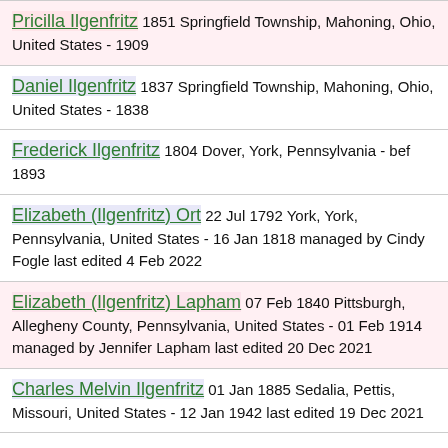Pricilla Ilgenfritz 1851 Springfield Township, Mahoning, Ohio, United States - 1909
Daniel Ilgenfritz 1837 Springfield Township, Mahoning, Ohio, United States - 1838
Frederick Ilgenfritz 1804 Dover, York, Pennsylvania - bef 1893
Elizabeth (Ilgenfritz) Ort 22 Jul 1792 York, York, Pennsylvania, United States - 16 Jan 1818 managed by Cindy Fogle last edited 4 Feb 2022
Elizabeth (Ilgenfritz) Lapham 07 Feb 1840 Pittsburgh, Allegheny County, Pennsylvania, United States - 01 Feb 1914 managed by Jennifer Lapham last edited 20 Dec 2021
Charles Melvin Ilgenfritz 01 Jan 1885 Sedalia, Pettis, Missouri, United States - 12 Jan 1942 last edited 19 Dec 2021